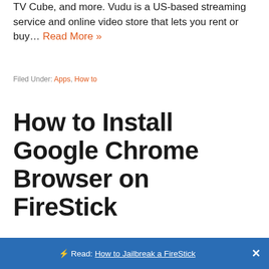TV Cube, and more. Vudu is a US-based streaming service and online video store that lets you rent or buy… Read More »
Filed Under: Apps, How to
How to Install Google Chrome Browser on FireStick
⚡ Read: How to Jailbreak a FireStick